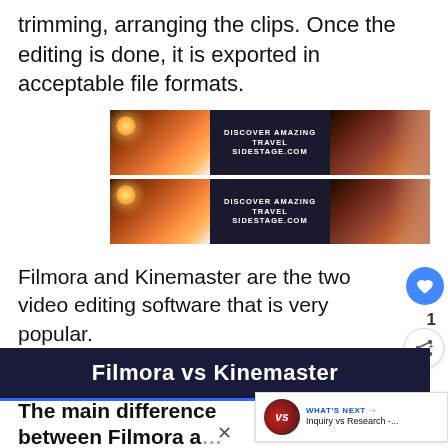trimming, arranging the clips. Once the editing is done, it is exported in acceptable file formats.
[Figure (screenshot): Two rows of video advertisement banners for sidestage.com — each row has a thumbnail of a sunset/cliffside scene on the left, text 'DISCOVER AMAZING TRAVEL SIDESTAGE.COM' in the center, and another sunset thumbnail on the right.]
Filmora and Kinemaster are the two video editing software that is very popular.
Filmora vs Kinemaster
The main difference between Filmora and Kinemaster is that Filmora is a simple video